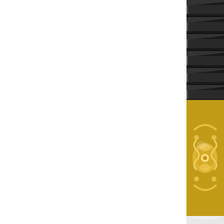[Figure (photo): Close-up photo of dark/black mechanical gear teeth, showing sharp metallic serrated profiles against a dark background.]
[Figure (photo): Close-up photo of an ornate golden/brass mechanical component or decorative metalwork with intricate scrollwork patterns.]
[Figure (photo): Photo of industrial machinery or engine components, showing mechanical parts with yellow and grey elements.]
[Figure (photo): Close-up photo of dark woven or quilted material, possibly carbon fiber or textile with a diagonal pattern, with blue element visible at bottom.]
[Figure (photo): Partial photo at bottom showing what appears to be a tool or mechanical instrument against a blue background.]